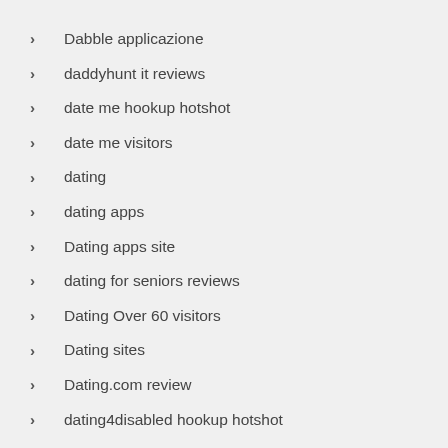Dabble applicazione
daddyhunt it reviews
date me hookup hotshot
date me visitors
dating
dating apps
Dating apps site
dating for seniors reviews
Dating Over 60 visitors
Dating sites
Dating.com review
dating4disabled hookup hotshot
dating4disabled reviews